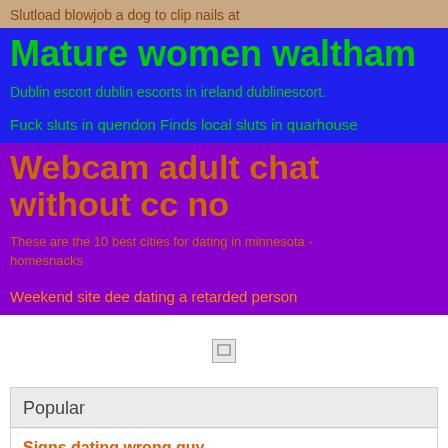Slutload blowjob a dog to clip nails at
Mature women waltham
Dublin escort dublin escorts in ireland dublinescort.
Fuck sluts in quendon Finds local sluts in quarhouse
Webcam adult chat without cc no
These are the 10 best cities for dating in minnesota - homesnacks
Weekend site dee dating a retarded person
[Figure (other): Small broken image icon]
Popular
Signs dating wrong guy